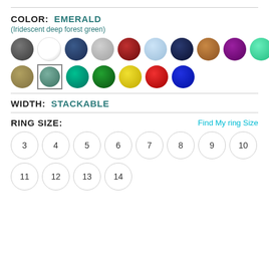COLOR: EMERALD
(Iridescent deep forest green)
[Figure (other): Color swatches: two rows of circular color dots representing available ring colors. First row: dark gray, white, navy, light gray, dark red, light blue, dark navy, brown/tan, purple, mint green. Second row: khaki/tan, emerald (selected, with circle border), teal, dark green, yellow, red, blue.]
WIDTH: STACKABLE
RING SIZE:
Find My ring Size
3
4
5
6
7
8
9
10
11
12
13
14